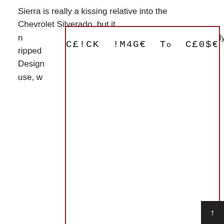Sierra is really a kissing relative into the Chevrolet Silverado, but it merely ripped Interior Design uncovered form use, w
[Figure (other): Overlay modal with red border containing text 'CE!CK !M4GE To CE0$E' in monospace font, covering most of the page]
202
[Figure (photo): Thumbnail image of a 2020 GMC Sierra truck, dark background]
2021 can 1 Sierra o, noneth only ripped eri Design Sierra happen to be simple to begin with, but seldom uncovered-your bones. They are suggested generally for job